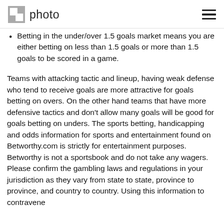photo
Betting in the under/over 1.5 goals market means you are either betting on less than 1.5 goals or more than 1.5 goals to be scored in a game.
Teams with attacking tactic and lineup, having weak defense who tend to receive goals are more attractive for goals betting on overs. On the other hand teams that have more defensive tactics and don't allow many goals will be good for goals betting on unders. The sports betting, handicapping and odds information for sports and entertainment found on Betworthy.com is strictly for entertainment purposes. Betworthy is not a sportsbook and do not take any wagers. Please confirm the gambling laws and regulations in your jurisdiction as they vary from state to state, province to province, and country to country. Using this information to contravene